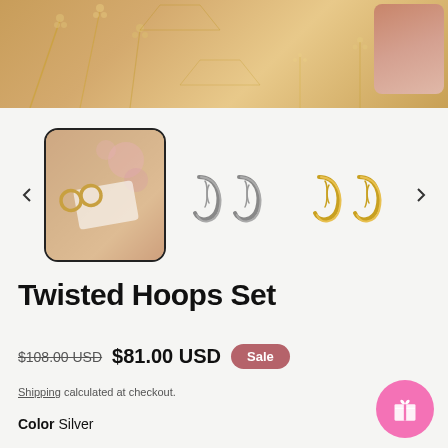[Figure (photo): Product gallery showing twisted hoop earrings. Top: warm golden floral background with a small photo inset of a person wearing earrings. Thumbnail row: selected image of gold hoops on pink floral background (highlighted with border), center image of silver twisted hoop earrings on white/grey background, right image of gold twisted hoop earrings on white background. Navigation arrows on left and right.]
Twisted Hoops Set
$108.00 USD  $81.00 USD  Sale
Shipping calculated at checkout.
Color  Silver